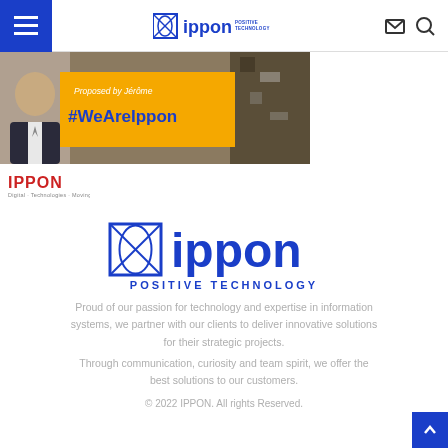[Figure (logo): Ippon Positive Technology navigation bar logo]
[Figure (photo): Banner image with person photo and yellow overlay text: Proposed by Jérôme #WeAreIppon]
[Figure (logo): Small IPPON Digital Technologies Moving logo]
[Figure (logo): Large Ippon Positive Technology logo centered]
POSITIVE TECHNOLOGY
Proud of our passion for technology and expertise in information systems, we partner with our clients to deliver innovative solutions for their strategic projects.
Through communication, curiosity and team spirit, we offer the best solutions to our customers.
© 2022 IPPON. All rights Reserved.